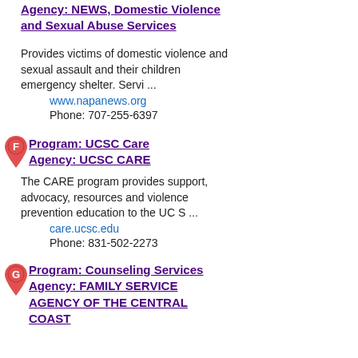Program: NEWS, Domestic Violence and Sexual Abuse Services
Agency: NEWS, Domestic Violence and Sexual Abuse Services
Provides victims of domestic violence and sexual assault and their children emergency shelter. Servi ...
www.napanews.org
Phone: 707-255-6397
Program: UCSC Care
Agency: UCSC CARE
The CARE program provides support, advocacy, resources and violence prevention education to the UC S ...
care.ucsc.edu
Phone: 831-502-2273
Program: Counseling Services
Agency: FAMILY SERVICE AGENCY OF THE CENTRAL COAST
In-person meetings, support groups are temporarily suspended. Virtual support is available, see webs ...
Phone: 831-423-9444
Program: Survivors Healing Center
Agency: FAMILY SERVICE AGENCY OF THE CENTRAL COAST